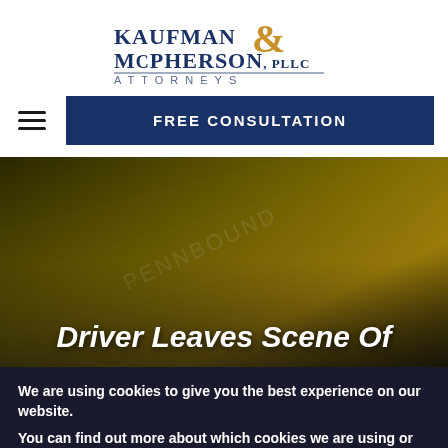[Figure (logo): Kaufman & McPherson, PLLC Attorneys logo with navy and gold ampersand]
[Figure (other): Navigation bar with hamburger menu and FREE CONSULTATION button]
[Figure (photo): Dark gold-tinted hero image with car/road background]
Driver Leaves Scene Of
We are using cookies to give you the best experience on our website.
You can find out more about which cookies we are using or switch them off in settings.
Accept  Reject  ×